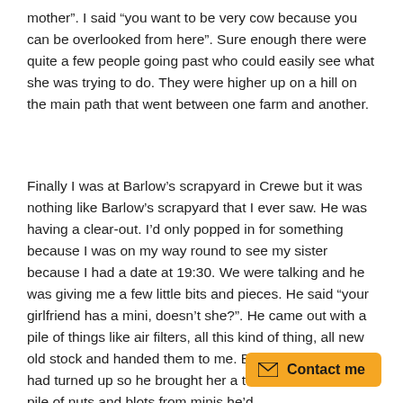mother”. I said “you want to be very cow because you can be overlooked from here”. Sure enough there were quite a few people going past who could easily see what she was trying to do. They were higher up on a hill on the main path that went between one farm and another.
Finally I was at Barlow’s scrapyard in Crewe but it was nothing like Barlow’s scrapyard that I ever saw. He was having a clear-out. I’d only popped in for something because I was on my way round to see my sister because I had a date at 19:30. We were talking and he was giving me a few little bits and pieces. He said “your girlfriend has a mini, doesn’t she?”. He came out with a pile of things like air filters, all this kind of thing, all new old stock and handed them to me. By this time Nerina had turned up so he brought her a toolbox and a whole pile of nuts and blots from minis he’d